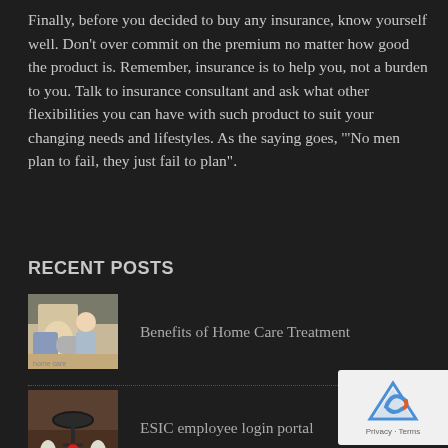Finally, before you decided to buy any insurance, know yourself well. Don't over commit on the premium no matter how good the product is. Remember, insurance is to help you, not a burden to you. Talk to insurance consultant and ask what other flexibilities you can have with such product to suit your changing needs and lifestyles. As the saying goes, '"No men plan to fail, they just fail to plan".
RECENT POSTS
[Figure (photo): Photo of a healthcare worker attending to a patient in a wheelchair]
Benefits of Home Care Treatment
[Figure (photo): Photo of a stethoscope with a family figurine, related to ESIC employee insurance]
ESIC employee login portal